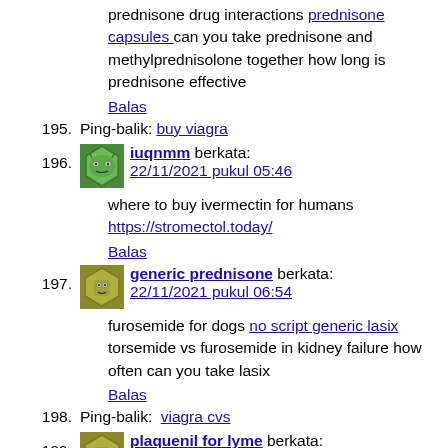prednisone drug interactions prednisone capsules can you take prednisone and methylprednisolone together how long is prednisone effective
Balas
195. Ping-balik: buy viagra
196. iuqnmm berkata: 22/11/2021 pukul 05:46
where to buy ivermectin for humans https://stromectol.today/
Balas
197. generic prednisone berkata: 22/11/2021 pukul 06:54
furosemide for dogs no script generic lasix torsemide vs furosemide in kidney failure how often can you take lasix
Balas
198. Ping-balik: viagra cvs
199. plaquenil for lyme berkata: